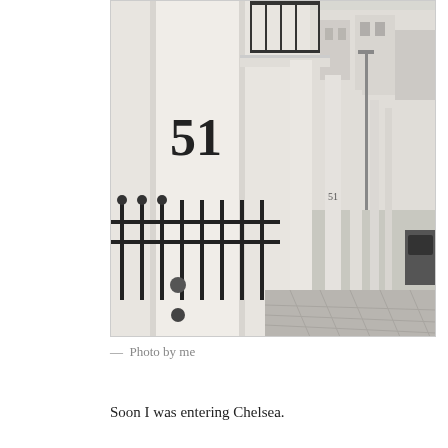[Figure (photo): Street-level photograph of a row of white Georgian townhouses in Chelsea, London. The foreground features a large white pillar with the number '51' painted on it in large black numerals, and a black wrought-iron fence. The buildings have classical columns and ornate balconies with iron railings. The street pavement stretches into the distance. A lamppost and a parked car are visible further along the street.]
— Photo by me
Soon I was entering Chelsea.